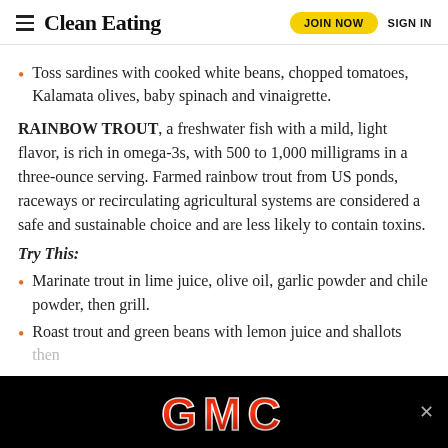Clean Eating | JOIN NOW | SIGN IN
Toss sardines with cooked white beans, chopped tomatoes, Kalamata olives, baby spinach and vinaigrette.
RAINBOW TROUT, a freshwater fish with a mild, light flavor, is rich in omega-3s, with 500 to 1,000 milligrams in a three-ounce serving. Farmed rainbow trout from US ponds, raceways or recirculating agricultural systems are considered a safe and sustainable choice and are less likely to contain toxins.
Try This:
Marinate trout in lime juice, olive oil, garlic powder and chile powder, then grill.
Roast trout and green beans with lemon juice and shallots then
[Figure (logo): GMC logo advertisement on black background]